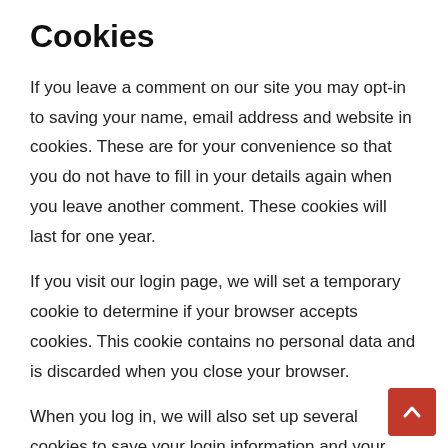Cookies
If you leave a comment on our site you may opt-in to saving your name, email address and website in cookies. These are for your convenience so that you do not have to fill in your details again when you leave another comment. These cookies will last for one year.
If you visit our login page, we will set a temporary cookie to determine if your browser accepts cookies. This cookie contains no personal data and is discarded when you close your browser.
When you log in, we will also set up several cookies to save your login information and your screen